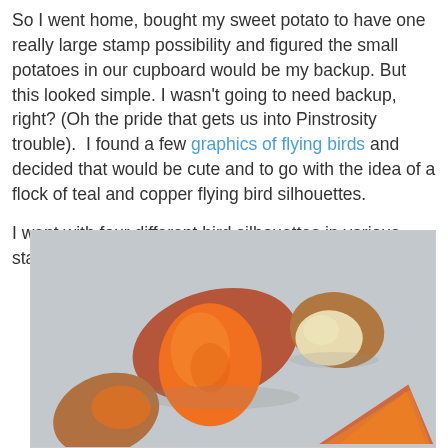So I went home, bought my sweet potato to have one really large stamp possibility and figured the small potatoes in our cupboard would be my backup. But this looked simple. I wasn't going to need backup, right? (Oh the pride that gets us into Pinstrosity trouble).  I found a few graphics of flying birds and decided that would be cute and to go with the idea of a flock of teal and copper flying bird silhouettes.

I went with four different bird silhouettes in various stages of flight, so I needed four potato halves. Done.
[Figure (photo): Photo of potato halves on a light blue/grey surface. A large sweet potato cut in half showing bright orange flesh, a small white/yellow potato half showing pale flesh, and two additional sweet potato pieces at the bottom left and bottom right showing orange flesh and brown skin.]